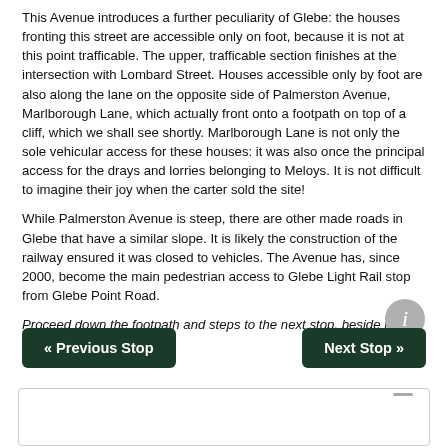This Avenue introduces a further peculiarity of Glebe: the houses fronting this street are accessible only on foot, because it is not at this point trafficable. The upper, trafficable section finishes at the intersection with Lombard Street. Houses accessible only by foot are also along the lane on the opposite side of Palmerston Avenue, Marlborough Lane, which actually front onto a footpath on top of a cliff, which we shall see shortly. Marlborough Lane is not only the sole vehicular access for these houses: it was also once the principal access for the drays and lorries belonging to Meloys. It is not difficult to imagine their joy when the carter sold the site!
While Palmerston Avenue is steep, there are other made roads in Glebe that have a similar slope. It is likely the construction of the railway ensured it was closed to vehicles. The Avenue has, since 2000, become the main pedestrian access to Glebe Light Rail stop from Glebe Point Road.
Proceed down the footpath and steps to the next stop, beside the light rail station.
[Figure (infographic): Info icon (grey circle with white 'i' letter)]
« Previous Stop
Next Stop »
[Figure (screenshot): White box with rounded border at bottom of page, partially visible]